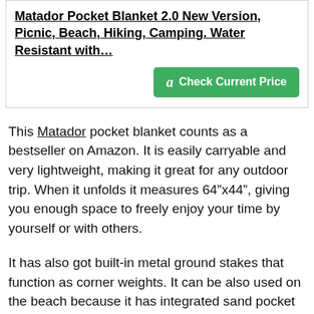Matador Pocket Blanket 2.0 New Version, Picnic, Beach, Hiking, Camping. Water Resistant with…
[Figure (other): Green Amazon 'Check Current Price' button with Amazon logo icon]
This Matador pocket blanket counts as a bestseller on Amazon. It is easily carryable and very lightweight, making it great for any outdoor trip. When it unfolds it measures 64”x44”, giving you enough space to freely enjoy your time by yourself or with others.
It has also got built-in metal ground stakes that function as corner weights. It can be also used on the beach because it has integrated sand pocket